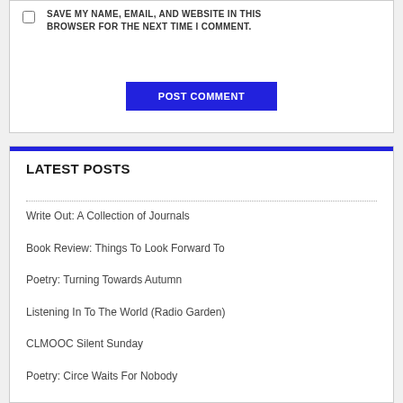SAVE MY NAME, EMAIL, AND WEBSITE IN THIS BROWSER FOR THE NEXT TIME I COMMENT.
POST COMMENT
LATEST POSTS
Write Out: A Collection of Journals
Book Review: Things To Look Forward To
Poetry: Turning Towards Autumn
Listening In To The World (Radio Garden)
CLMOOC Silent Sunday
Poetry: Circe Waits For Nobody
Ten Steps Project: Video Collage Finale